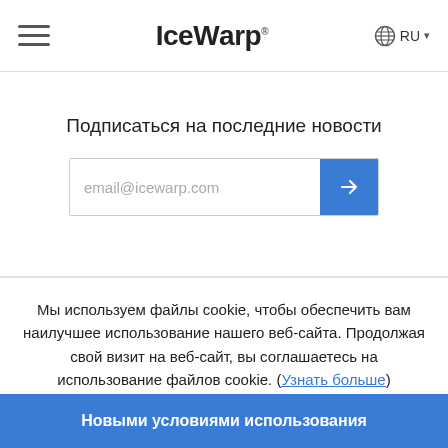IceWarp RU
Подписаться на последние новости
[Figure (screenshot): Email subscription input field with blue submit button]
Мы используем файлы cookie, чтобы обеспечить вам наилучшее использование нашего веб-сайта. Продолжая свой визит на веб-сайт, вы соглашаетесь на использование файлов cookie. (Узнать больше)
Новыми условиями использования